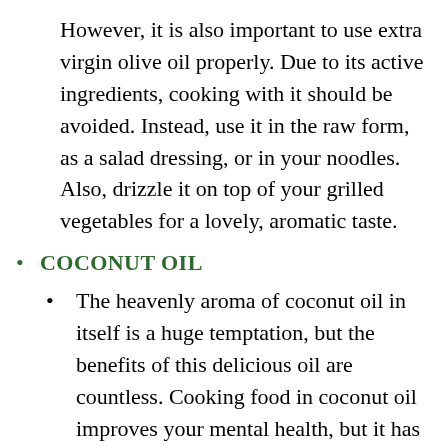However, it is also important to use extra virgin olive oil properly. Due to its active ingredients, cooking with it should be avoided. Instead, use it in the raw form, as a salad dressing, or in your noodles. Also, drizzle it on top of your grilled vegetables for a lovely, aromatic taste.
COCONUT OIL
The heavenly aroma of coconut oil in itself is a huge temptation, but the benefits of this delicious oil are countless. Cooking food in coconut oil improves your mental health, but it has proven abilities against brain cell decay due to aging or any other external factor. The decay process